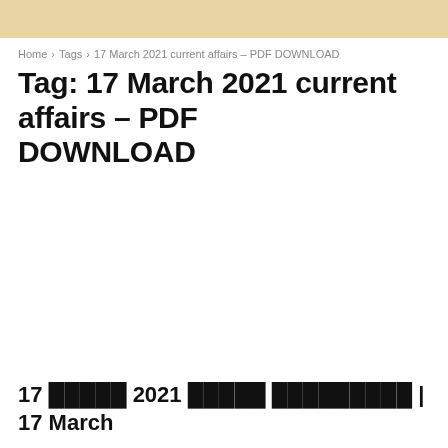Home › Tags › 17 March 2021 current affairs – PDF DOWNLOAD
Tag: 17 March 2021 current affairs – PDF DOWNLOAD
17 ██████ 2021 ██████ ██████████ | 17 March Current Affairs